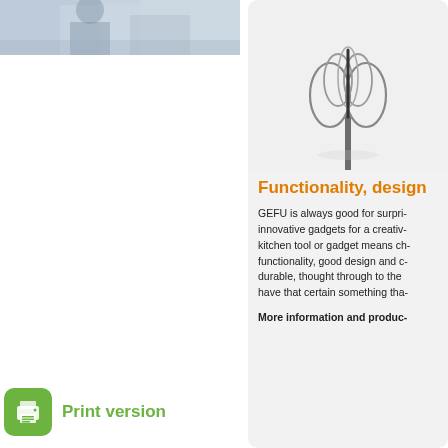[Figure (photo): Partial view of a person at a desk, cropped at top of page, left column]
[Figure (photo): Metallic wire whisk/kitchen gadget product image on light grey background]
Functionality, design
GEFU is always good for surpri- innovative gadgets for a creativ- kitchen tool or gadget means ch- functionality, good design and c- durable, thought through to the have that certain something tha-
More information and produc-
Print version